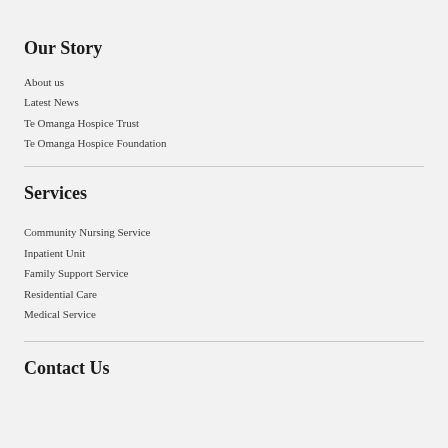Our Story
About us
Latest News
Te Omanga Hospice Trust
Te Omanga Hospice Foundation
Services
Community Nursing Service
Inpatient Unit
Family Support Service
Residential Care
Medical Service
Contact Us